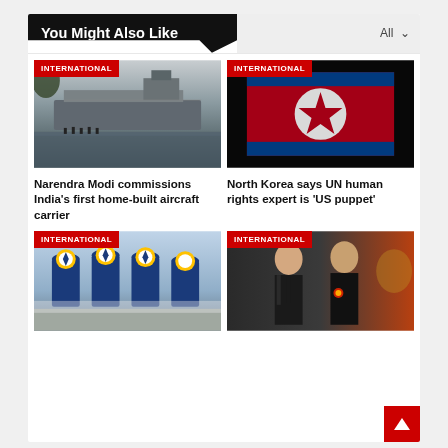You Might Also Like
[Figure (photo): Naval aircraft carrier ship docked in water, black and white photo, with 'INTERNATIONAL' badge]
[Figure (photo): North Korea flag waving, dark background, with 'INTERNATIONAL' badge]
Narendra Modi commissions India’s first home-built aircraft carrier
North Korea says UN human rights expert is ‘US puppet’
[Figure (photo): Lufthansa aircraft tails lined up, with 'INTERNATIONAL' badge]
[Figure (photo): Two men in dark suits standing formally, with 'INTERNATIONAL' badge]